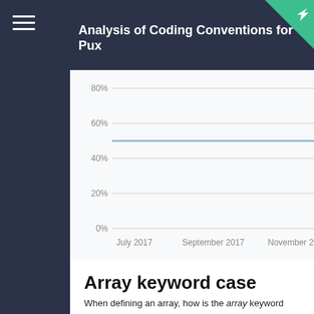Analysis of Coding Conventions for Pux
[Figure (continuous-plot): Line chart showing percentage over time from July 2017 to November 2017. Y-axis: 0% to 80% with gridlines at 0%, 20%, 40%, 60%, 80%. A horizontal line is drawn at approximately 50%. X-axis labels: July 2017, September 2017, November 2017.]
Array keyword case
When defining an array, how is the array keyword